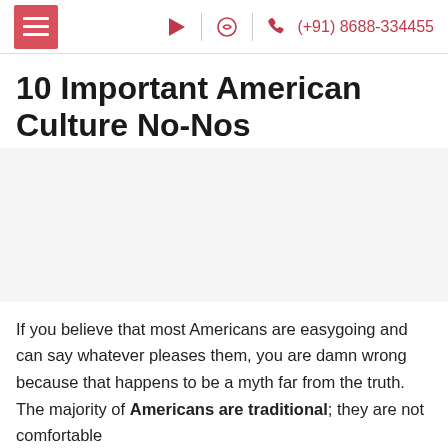(+91) 8688-334455
10 Important American Culture No-Nos
[Figure (other): Blank image placeholder area below the article title]
If you believe that most Americans are easygoing and can say whatever pleases them, you are damn wrong because that happens to be a myth far from the truth. The majority of Americans are traditional; they are not comfortable